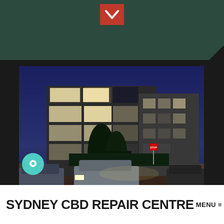[Figure (screenshot): Top portion of a website showing a dark green/teal header section with a red chevron/down-arrow button centered at top]
[Figure (photo): Night photograph of a multi-story apartment or commercial building with illuminated balconies and windows, cars parked in front street, dark blue sky, with a teal chat bubble icon overlay on the left side]
SYDNEY CBD REPAIR CENTRE
MENU ≡